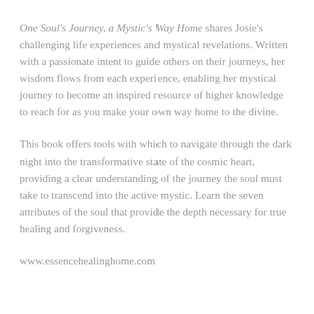One Soul's Journey, a Mystic's Way Home shares Josie's challenging life experiences and mystical revelations. Written with a passionate intent to guide others on their journeys, her wisdom flows from each experience, enabling her mystical journey to become an inspired resource of higher knowledge to reach for as you make your own way home to the divine.
This book offers tools with which to navigate through the dark night into the transformative state of the cosmic heart, providing a clear understanding of the journey the soul must take to transcend into the active mystic. Learn the seven attributes of the soul that provide the depth necessary for true healing and forgiveness.
www.essencehealinghome.com